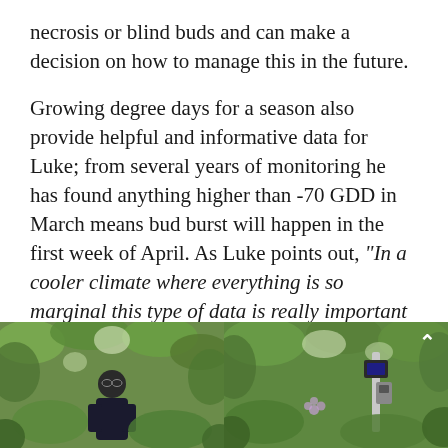necrosis or blind buds and can make a decision on how to manage this in the future.
Growing degree days for a season also provide helpful and informative data for Luke; from several years of monitoring he has found anything higher than -70 GDD in March means bud burst will happen in the first week of April. As Luke points out, “In a cooler climate where everything is so marginal this type of data is really important and can make a huge difference to successful vineyard management.”
[Figure (photo): Two side-by-side photographs of a vineyard. Left photo shows a man in dark clothing examining grape vines with green foliage. Right photo shows a close-up of grape vines with what appears to be a monitoring device attached, with green leaves in background.]